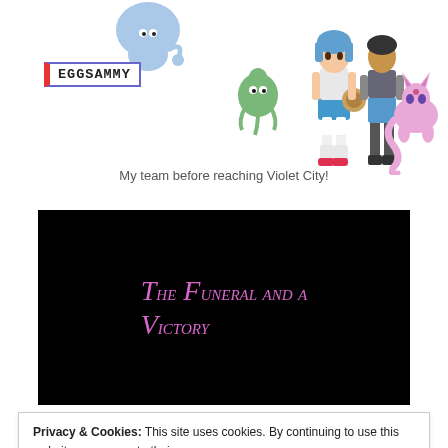[Figure (illustration): Pokemon team lineup with trainer character and name tag reading EGGSAMMY, featuring several Pokemon including Espeon and others, with a name badge in the top left.]
My team before reaching Violet City!
The Funeral and a Victory
Privacy & Cookies: This site uses cookies. By continuing to use this website, you agree to their use.
To find out more, including how to control cookies, see here: Cookie Policy
Close and accept
swap into every time while I heal up my team: a